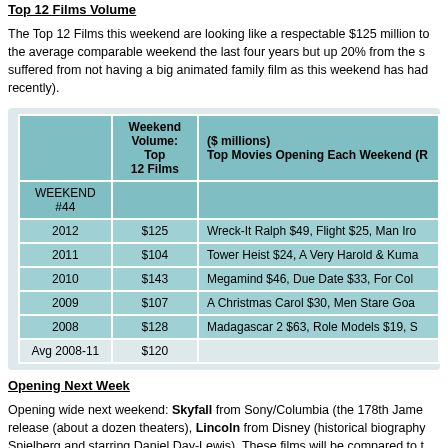Top 12 Films Volume
The Top 12 Films this weekend are looking like a respectable $125 million total, down from the average comparable weekend the last four years but up 20% from the same weekend last year which suffered from not having a big animated family film as this weekend has had in recent years (until recently).
| WEEKEND #44 | Weekend Volume: Top 12 Films | ($ millions) Top Movies Opening Each Weekend (R... |
| --- | --- | --- |
| 2012 | $125 | Wreck-It Ralph $49, Flight $25, Man Iro... |
| 2011 | $104 | Tower Heist $24, A Very Harold & Kuma... |
| 2010 | $143 | Megamind $46, Due Date $33, For Col... |
| 2009 | $107 | A Christmas Carol $30, Men Stare Goa... |
| 2008 | $128 | Madagascar 2 $63, Role Models $19, S... |
| Avg 2008-11 | $120 |  |
Opening Next Week
Opening wide next weekend: Skyfall from Sony/Columbia (the 178th Jame... release (about a dozen theaters), Lincoln from Disney (historical biography... Spielberg and starring Daniel Day-Lewis). These films will be compared to t...